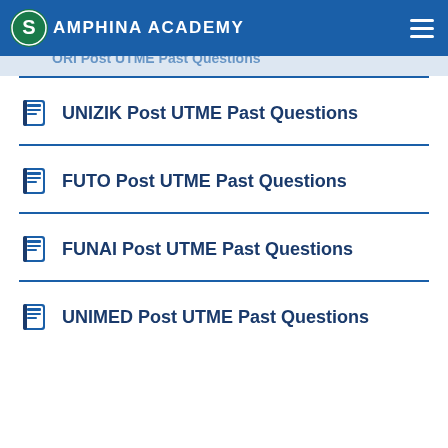Samphina Academy
ORI Post UTME Past Questions
UNIZIK Post UTME Past Questions
FUTO Post UTME Past Questions
FUNAI Post UTME Past Questions
UNIMED Post UTME Past Questions